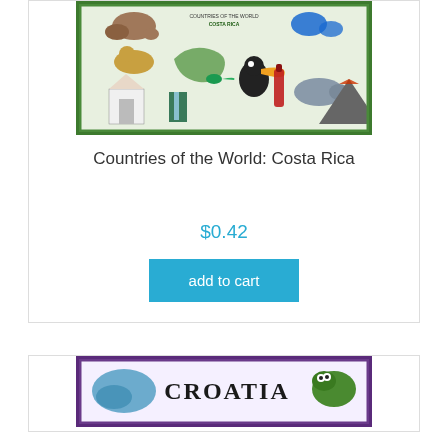[Figure (illustration): Costa Rica countries of the world educational poster showing animals, landmarks, and plants with green border]
Countries of the World: Costa Rica
$0.42
add to cart
[Figure (illustration): Croatia countries of the world educational poster with purple border showing CROATIA text and illustrations]